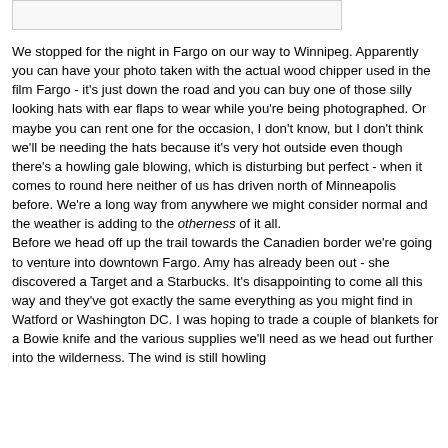[Figure (other): Image placeholder / photo at top of page]
We stopped for the night in Fargo on our way to Winnipeg. Apparently you can have your photo taken with the actual wood chipper used in the film Fargo - it's just down the road and you can buy one of those silly looking hats with ear flaps to wear while you're being photographed. Or maybe you can rent one for the occasion, I don't know, but I don't think we'll be needing the hats because it's very hot outside even though there's a howling gale blowing, which is disturbing but perfect - when it comes to round here neither of us has driven north of Minneapolis before. We're a long way from anywhere we might consider normal and the weather is adding to the otherness of it all.
Before we head off up the trail towards the Canadien border we're going to venture into downtown Fargo. Amy has already been out - she discovered a Target and a Starbucks. It's disappointing to come all this way and they've got exactly the same everything as you might find in Watford or Washington DC. I was hoping to trade a couple of blankets for a Bowie knife and the various supplies we'll need as we head out further into the wilderness. The wind is still howling